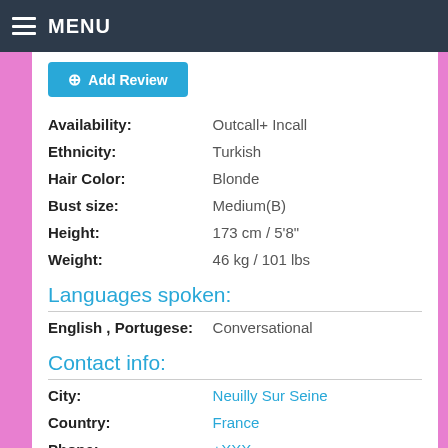MENU
+ Add Review
| Attribute | Value |
| --- | --- |
| Availability: | Outcall+ Incall |
| Ethnicity: | Turkish |
| Hair Color: | Blonde |
| Bust size: | Medium(B) |
| Height: | 173 cm / 5'8" |
| Weight: | 46 kg / 101 lbs |
Languages spoken:
| Language | Level |
| --- | --- |
| English , Portugese: | Conversational |
Contact info:
| Field | Value |
| --- | --- |
| City: | Neuilly Sur Seine |
| Country: | France |
| Phone: | +XXX |